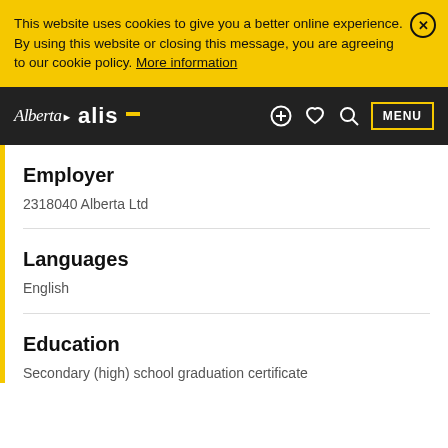This website uses cookies to give you a better online experience. By using this website or closing this message, you are agreeing to our cookie policy. More information
[Figure (logo): Alberta ALIS government website logo and navigation bar with icons for add, save, search, and MENU button]
Employer
2318040 Alberta Ltd
Languages
English
Education
Secondary (high) school graduation certificate